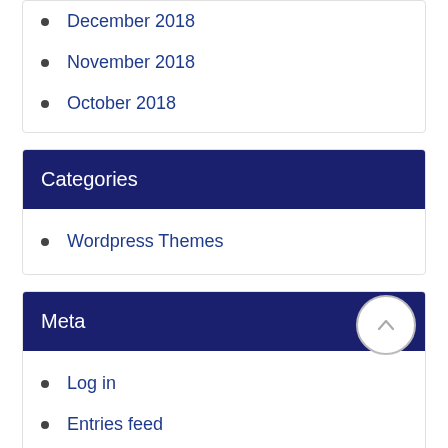December 2018
November 2018
October 2018
Categories
Wordpress Themes
Meta
Log in
Entries feed
Comments feed